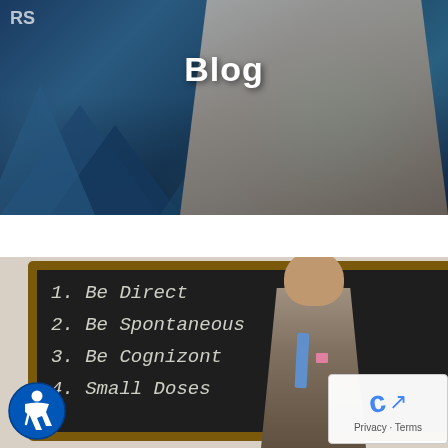[Figure (photo): A man in a grey suit presenting on stage with arms raised, colorful blue/teal stage backdrop with geometric shapes, text 'Blog' overlaid in white bold text]
Blog
[Figure (photo): A chalkboard with handwritten list: 1. Be Direct, 2. Be Spontaneous, 3. Be Cognizont, 4. Small Doses. A man in a suit stands to the right. Accessibility icon bottom left, reCAPTCHA widget bottom right.]
1.  Be Direct
2. Be Spontaneous
3. Be Cognizont
4. Small Doses